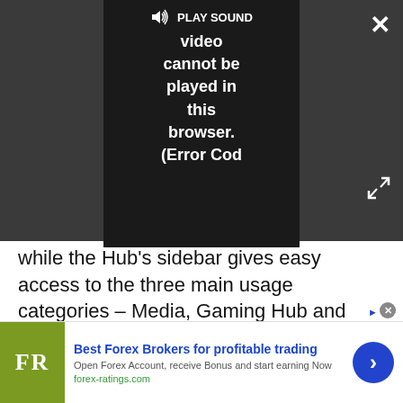[Figure (screenshot): Video player embedded in dark gray UI showing error: 'PLAY SOUND Video cannot be played in this browser. (Error Cod' with close button (X) and fullscreen icon]
while the Hub's sidebar gives easy access to the three main usage categories – Media, Gaming Hub and Ambient.
[Figure (screenshot): Advertisement placeholder box (light gray, labeled 'Advertisement')]
[Figure (screenshot): Bottom banner ad: FR logo (olive green), 'Best Forex Brokers for profitable trading', 'Open Forex Account, receive Bonus and start earning Now', 'forex-ratings.com', blue arrow button]